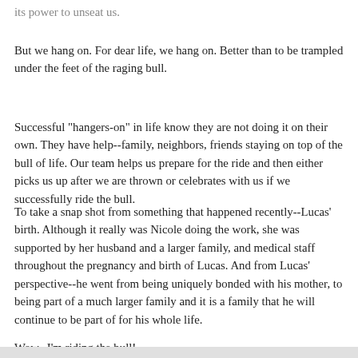its power to unseat us.
But we hang on. For dear life, we hang on. Better than to be trampled under the feet of the raging bull.
Successful "hangers-on" in life know they are not doing it on their own. They have help--family, neighbors, friends staying on top of the bull of life. Our team helps us prepare for the ride and then either picks us up after we are thrown or celebrates with us if we successfully ride the bull.
To take a snap shot from something that happened recently--Lucas' birth. Although it really was Nicole doing the work, she was supported by her husband and a larger family, and medical staff throughout the pregnancy and birth of Lucas. And from Lucas' perspective--he went from being uniquely bonded with his mother, to being part of a much larger family and it is a family that he will continue to be part of for his whole life.
Wow--I'm riding the bull!